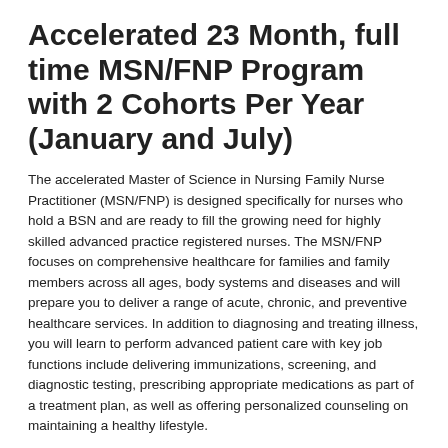Accelerated 23 Month, full time MSN/FNP Program with 2 Cohorts Per Year (January and July)
The accelerated Master of Science in Nursing Family Nurse Practitioner (MSN/FNP) is designed specifically for nurses who hold a BSN and are ready to fill the growing need for highly skilled advanced practice registered nurses. The MSN/FNP focuses on comprehensive healthcare for families and family members across all ages, body systems and diseases and will prepare you to deliver a range of acute, chronic, and preventive healthcare services. In addition to diagnosing and treating illness, you will learn to perform advanced patient care with key job functions include delivering immunizations, screening, and diagnostic testing, prescribing appropriate medications as part of a treatment plan, as well as offering personalized counseling on maintaining a healthy lifestyle.
This accelerated 23-month full time asynchronous online program prepares students for the Advanced Practice